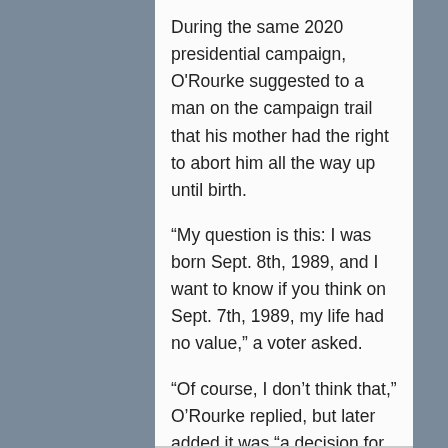During the same 2020 presidential campaign, O'Rourke suggested to a man on the campaign trail that his mother had the right to abort him all the way up until birth.
“My question is this: I was born Sept. 8th, 1989, and I want to know if you think on Sept. 7th, 1989, my life had no value,” a voter asked.
“Of course, I don’t think that,” O’Rourke replied, but later added it was “a decision for the woman to make.”